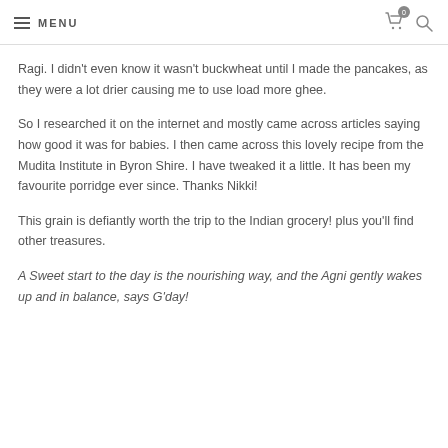MENU
Ragi. I didn't even know it wasn't buckwheat until I made the pancakes, as they were a lot drier causing me to use load more ghee.
So I researched it on the internet and mostly came across articles saying how good it was for babies. I then came across this lovely recipe from the Mudita Institute in Byron Shire. I have tweaked it a little. It has been my favourite porridge ever since. Thanks Nikki!
This grain is defiantly worth the trip to the Indian grocery! plus you'll find other treasures.
A Sweet start to the day is the nourishing way, and the Agni gently wakes up and in balance, says G'day!